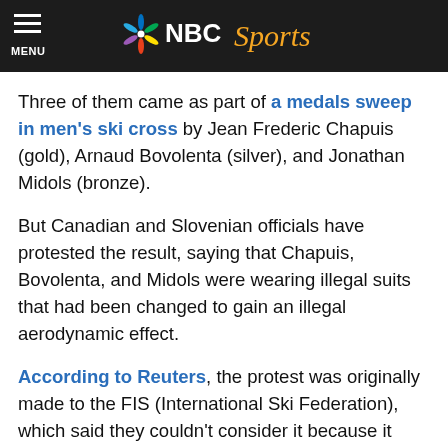MENU | NBC Sports
Three of them came as part of a medals sweep in men's ski cross by Jean Frederic Chapuis (gold), Arnaud Bovolenta (silver), and Jonathan Midols (bronze).
But Canadian and Slovenian officials have protested the result, saying that Chapuis, Bovolenta, and Midols were wearing illegal suits that had been changed to gain an illegal aerodynamic effect.
According to Reuters, the protest was originally made to the FIS (International Ski Federation), which said they couldn't consider it because it wasn't made in time.
The protest has now been escalated to the Court of Arbitration for Sport, the highest court in all of sporting-related law.
CAS officials are meeting this evening to discuss the